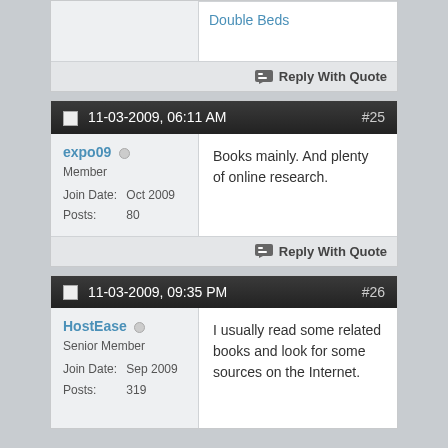Double Beds
Reply With Quote
11-03-2009, 06:11 AM #25
expo09
Member
Join Date: Oct 2009
Posts: 80
Books mainly. And plenty of online research.
Reply With Quote
11-03-2009, 09:35 PM #26
HostEase
Senior Member
Join Date: Sep 2009
Posts: 319
I usually read some related books and look for some sources on the Internet.